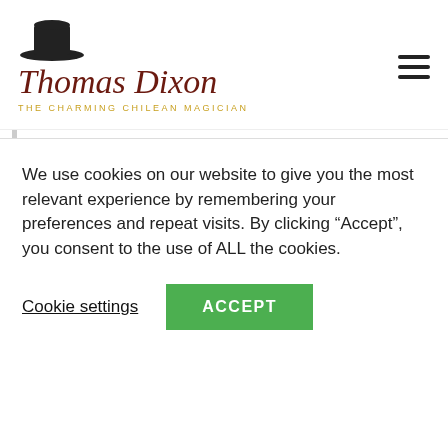[Figure (logo): Thomas Dixon logo with top hat, cursive name in dark red/brown, subtitle 'THE CHARMING CHILEAN MAGICIAN' in gold]
How to finish a cycle ...
I still remember the day that I finished my thesis degree, it was a really happy day! The feeling that it was finally over, all those years of study, working, writing. Finally, I was going to get my electrical engineer degree! I took me around
We use cookies on our website to give you the most relevant experience by remembering your preferences and repeat visits. By clicking “Accept”, you consent to the use of ALL the cookies.
Cookie settings
ACCEPT